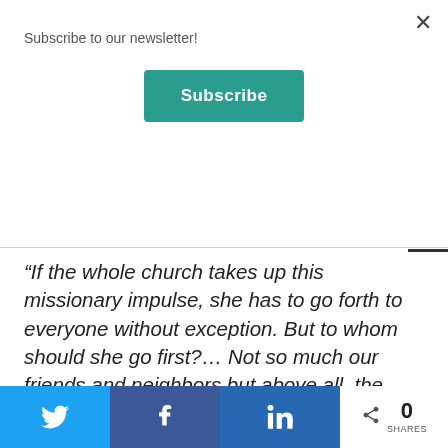Subscribe to our newsletter!
Subscribe
“If the whole church takes up this missionary impulse, she has to go forth to everyone without exception. But to whom should she go first?… Not so much our friends and neighbors but above all, the poor and sick, those who are usually despised and overlooked, ‘those who
0 SHARES (Twitter, Facebook, LinkedIn share buttons)